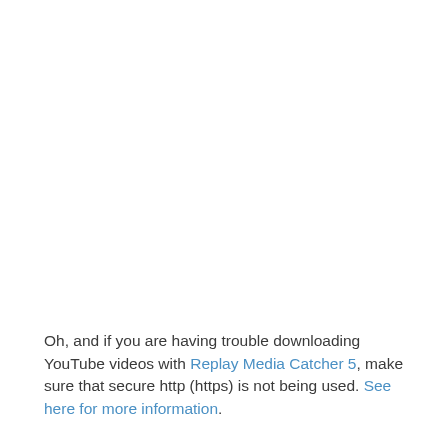Oh, and if you are having trouble downloading YouTube videos with Replay Media Catcher 5, make sure that secure http (https) is not being used. See here for more information.